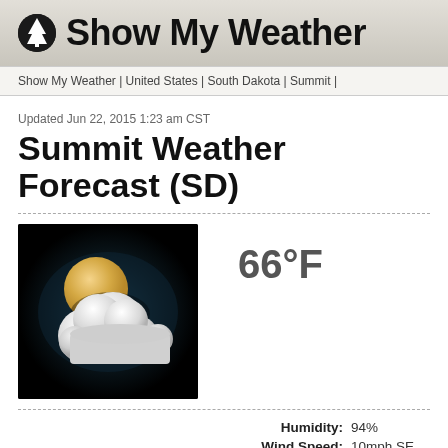Show My Weather
Show My Weather | United States | South Dakota | Summit |
Updated Jun 22, 2015 1:23 am CST
Summit Weather Forecast (SD)
[Figure (illustration): Weather icon showing partly cloudy night: a golden moon partially obscured by white/grey clouds on a dark background]
66°F
|  |  |
| --- | --- |
| Humidity: | 94% |
| Wind Speed: | 10mph SE |
| Barometer: | 1004 mb |